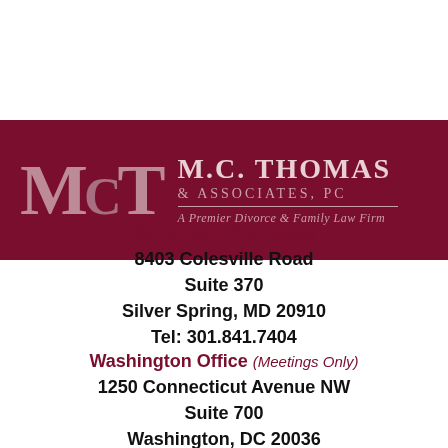[Figure (logo): M.C. Thomas & Associates, PC law firm logo with dark red banner, monogram MCT, firm name, and tagline 'A Premier Divorce & Family Law Firm']
Maryland Office (Main)
8403 Colesville Road
Suite 370
Silver Spring, MD 20910
Tel: 301.841.7404
Washington Office (Meetings Only)
1250 Connecticut Avenue NW
Suite 700
Washington, DC 20036
Tel: 202.536.4841